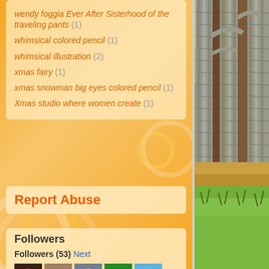wendy foggia Ever After Sisterhood of the traveling pants (1)
whimsical colored pencil (1)
whimsical illustration (2)
xmas fairy (1)
xmas snowman big eyes colored pencil (1)
Xmas studio where women create (1)
Report Abuse
Followers
Followers (53) Next
[Figure (photo): Painting of tall trees with grey bark in a forest setting with green grass and golden ground foliage in the background]
[Figure (photo): Row of follower avatar photos - 5 visible avatars in top row, partial second row visible]